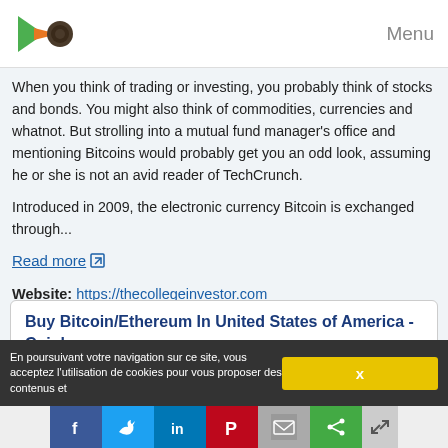Menu
When you think of trading or investing, you probably think of stocks and bonds. You might also think of commodities, currencies and whatnot. But strolling into a mutual fund manager's office and mentioning Bitcoins would probably get you an odd look, assuming he or she is not an avid reader of TechCrunch.
Introduced in 2009, the electronic currency Bitcoin is exchanged through...
Read more
Website: https://thecollegeinvestor.com
Buy Bitcoin/Ethereum In United States of America - Coinbase
Buy Bitcoin, Ethereum, & Litecoin In United States
Coinbase is the easiest way to buy and sell Bitcoin, Ethereum, & Litecoin in
En poursuivant votre navigation sur ce site, vous acceptez l'utilisation de cookies pour vous proposer des contenus et
X